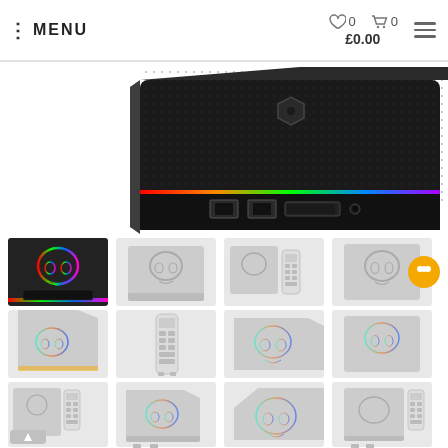MENU | ♡ 0 | 🛒 0 | £0.00
[Figure (photo): Close-up photo of a black Intel NUC Beast Canyon mini PC showing the front panel with USB ports, SD card reader, and hexagonal power button on top]
[Figure (photo): Grid of thumbnail images showing the Intel NUC Beast Canyon mini PC from various angles including front, side, and with remote control accessories. 12 thumbnail images arranged in 3 rows of 4.]